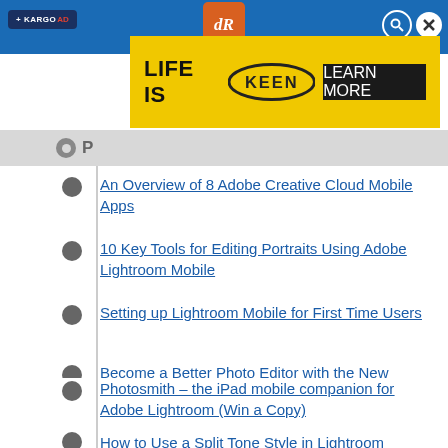[Figure (screenshot): Website header with blue navigation bar, Kargo badge, dR orange logo, search and close icons]
[Figure (screenshot): Advertisement banner: yellow background with 'LIFE IS KEEN' text and 'LEARN MORE' button]
An Overview of 8 Adobe Creative Cloud Mobile Apps
10 Key Tools for Editing Portraits Using Adobe Lightroom Mobile
Setting up Lightroom Mobile for First Time Users
Become a Better Photo Editor with the New Lightroom Mobile ‘Discover’ Feature
Photosmith – the iPad mobile companion for Adobe Lightroom (Win a Copy)
How to Use a Split Tone Style in Lightroom